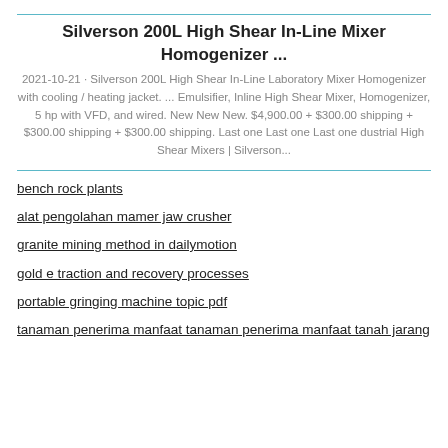Silverson 200L High Shear In-Line Mixer Homogenizer ...
2021-10-21 · Silverson 200L High Shear In-Line Laboratory Mixer Homogenizer with cooling / heating jacket. ... Emulsifier, Inline High Shear Mixer, Homogenizer, 5 hp with VFD, and wired. New New New. $4,900.00 + $300.00 shipping + $300.00 shipping + $300.00 shipping. Last one Last one Last one dustrial High Shear Mixers | Silverson...
bench rock plants
alat pengolahan mamer jaw crusher
granite mining method in dailymotion
gold e traction and recovery processes
portable gringing machine topic pdf
tanaman penerima manfaat tanaman penerima manfaat tanah jarang